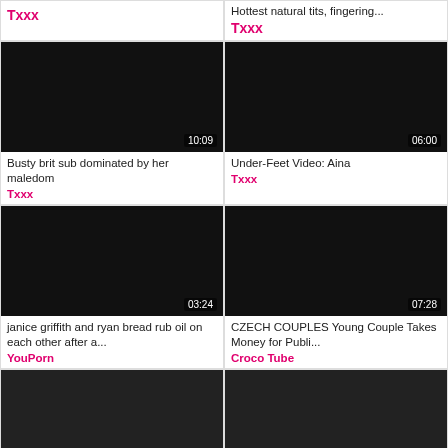[Figure (screenshot): Video thumbnail (black) - top left partial, no duration shown]
Txxx
[Figure (screenshot): Video thumbnail (black) - top right partial]
Hottest natural tits, fingering...
Txxx
[Figure (screenshot): Video thumbnail (black) - duration 10:09]
Busty brit sub dominated by her maledom
Txxx
[Figure (screenshot): Video thumbnail (black) - duration 06:00]
Under-Feet Video: Aina
Txxx
[Figure (screenshot): Video thumbnail (black) - duration 03:24]
janice griffith and ryan bread rub oil on each other after a...
YouPorn
[Figure (screenshot): Video thumbnail (black) - duration 07:28]
CZECH COUPLES Young Couple Takes Money for Publi...
Croco Tube